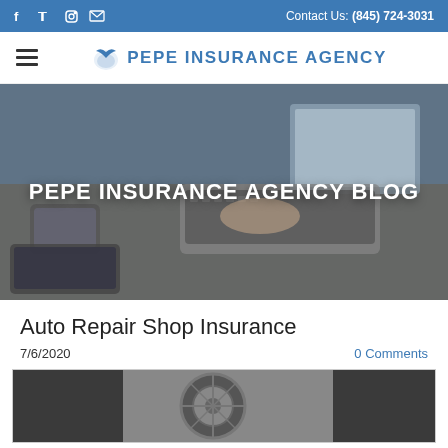Contact Us: (845) 724-3031
[Figure (logo): Pepe Insurance Agency logo with bird icon and bold blue text]
[Figure (photo): Hero banner photo of a person typing on a laptop on a wooden desk with phones, overlaid with text 'PEPE INSURANCE AGENCY BLOG']
Auto Repair Shop Insurance
7/6/2020
0 Comments
[Figure (photo): Photo of a car wheel/tire close-up in a repair shop setting]